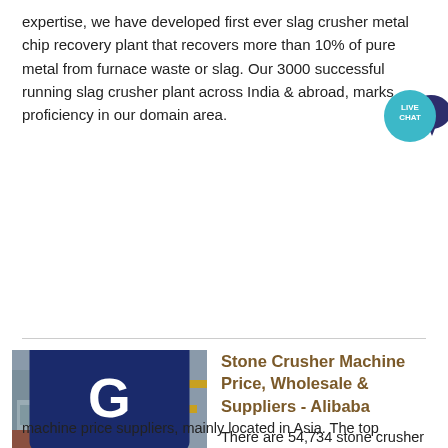expertise, we have developed first ever slag crusher metal chip recovery plant that recovers more than 10% of pure metal from furnace waste or slag. Our 3000 successful running slag crusher plant across India & abroad, marks proficiency in our domain area.
[Figure (other): Live Chat bubble badge in teal/dark blue]
Get Price
[Figure (photo): Stone crusher machine industrial equipment photo with ACRUSHER Mining Equipment logo overlay]
Stone Crusher Machine Price, Wholesale & Suppliers - Alibaba
There are 54,734 stone crusher machine price suppliers, mainly located in Asia. The top